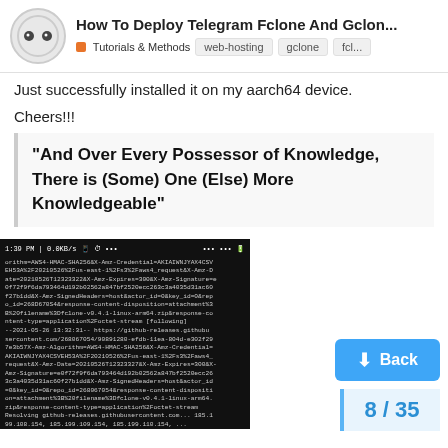How To Deploy Telegram Fclone And Gclon... | Tutorials & Methods | web-hosting | gclone | fcl...
Just successfully installed it on my aarch64 device.
Cheers!!!
"And Over Every Possessor of Knowledge, There is (Some) One (Else) More Knowledgeable"
[Figure (screenshot): Mobile terminal screenshot showing wget download of fclone-v0.4.1-linux-arm64.zip from GitHub releases with download progress and connection details]
Back
8 / 35